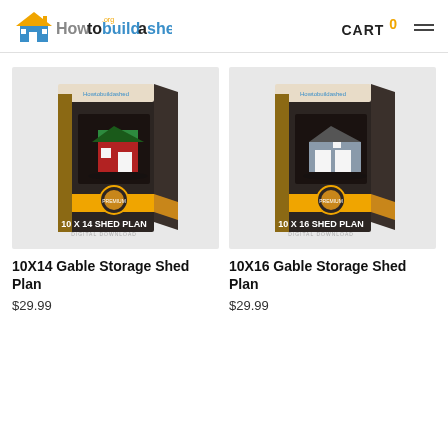Howtobuildashed.org | CART 0
[Figure (photo): Product box for 10X14 Shed Plan showing a red gable shed on dark packaging with gold trim and Howtobuildashed branding]
[Figure (photo): Product box for 10X16 Shed Plan showing a gray gable shed on dark packaging with gold trim and Howtobuildashed branding]
10X14 Gable Storage Shed Plan
$29.99
10X16 Gable Storage Shed Plan
$29.99